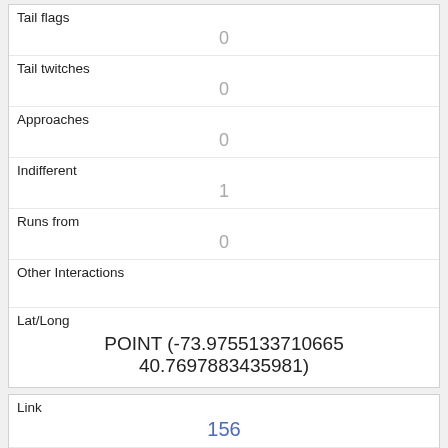| Tail flags | 0 |
| Tail twitches | 0 |
| Approaches | 0 |
| Indifferent | 1 |
| Runs from | 0 |
| Other Interactions |  |
| Lat/Long | POINT (-73.9755133710665 40.7697883435981) |
| Link | 156 |
| rowid | 156 |
| longitude | -73.9576500007499 |